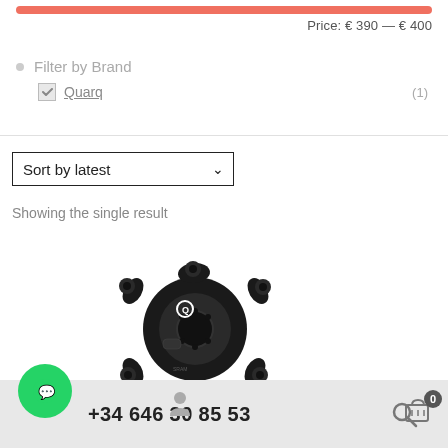[Figure (other): Price range horizontal slider bar in salmon/coral color]
Price: € 390 — € 400
Filter by Brand
Quarq (1)
Sort by latest
Showing the single result
[Figure (photo): Quarq power meter spider/crank arm component, black, viewed from front]
+34 646 30 85 53